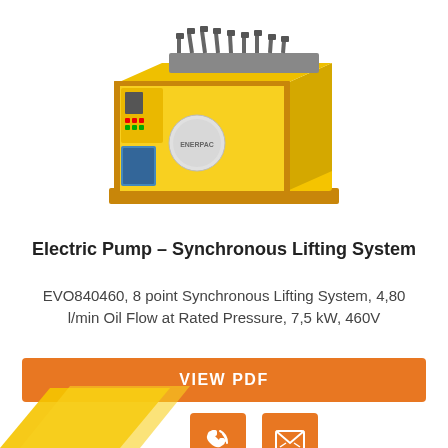[Figure (photo): Yellow industrial electric pump unit (Enerpac Synchronous Lifting System) on pallet, with hydraulic manifolds and valves visible on top, set against white background.]
Electric Pump – Synchronous Lifting System
EVO840460, 8 point Synchronous Lifting System, 4,80 l/min Oil Flow at Rated Pressure, 7,5 kW, 460V
VIEW PDF
[Figure (illustration): Orange button with phone/call icon]
[Figure (illustration): Orange button with email/envelope icon]